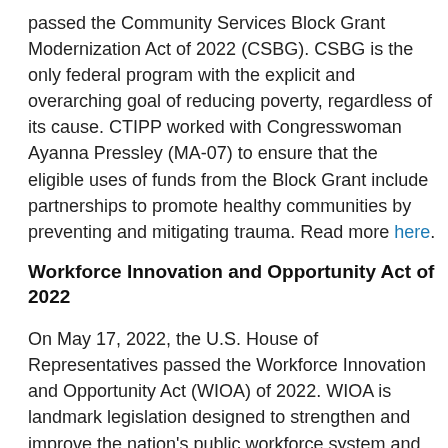passed the Community Services Block Grant Modernization Act of 2022 (CSBG). CSBG is the only federal program with the explicit and overarching goal of reducing poverty, regardless of its cause. CTIPP worked with Congresswoman Ayanna Pressley (MA-07) to ensure that the eligible uses of funds from the Block Grant include partnerships to promote healthy communities by preventing and mitigating trauma. Read more here.
Workforce Innovation and Opportunity Act of 2022
On May 17, 2022, the U.S. House of Representatives passed the Workforce Innovation and Opportunity Act (WIOA) of 2022. WIOA is landmark legislation designed to strengthen and improve the nation's public workforce system and get people in America, including youth and those with significant barriers to